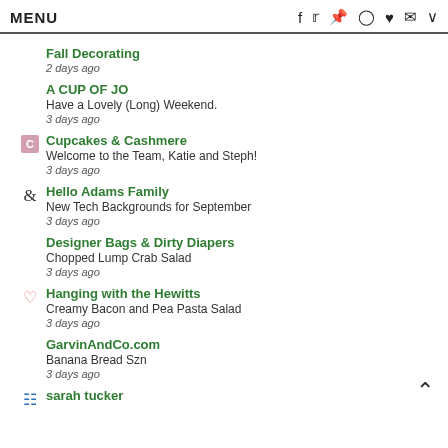MENU  f  t  p  o  ♥  ✉  ∨
Fall Decorating
2 days ago
A CUP OF JO
Have a Lovely (Long) Weekend.
3 days ago
Cupcakes & Cashmere
Welcome to the Team, Katie and Steph!
3 days ago
Hello Adams Family
New Tech Backgrounds for September
3 days ago
Designer Bags & Dirty Diapers
Chopped Lump Crab Salad
3 days ago
Hanging with the Hewitts
Creamy Bacon and Pea Pasta Salad
3 days ago
GarvinAndCo.com
Banana Bread Szn
3 days ago
sarah tucker